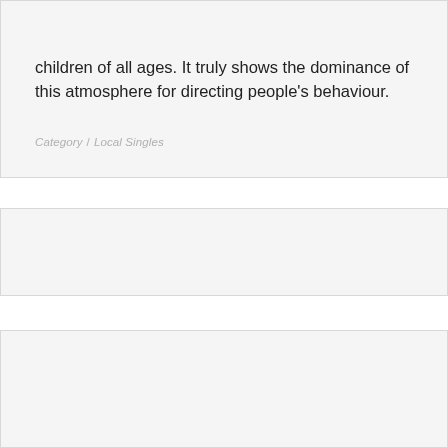[Figure (other): Hamburger menu icon (three horizontal lines) in top right corner]
children of all ages. It truly shows the dominance of this atmosphere for directing people's behaviour.
Category / Local Singles
[Figure (other): Empty card/box with light gray background]
ALL
Free MILF Dating Apps
Completely Free Milf Dating App